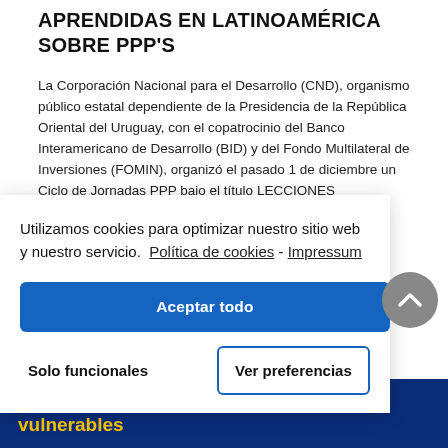APRENDIDAS EN LATINOAMÉRICA SOBRE PPP'S
La Corporación Nacional para el Desarrollo (CND), organismo público estatal dependiente de la Presidencia de la República Oriental del Uruguay, con el copatrocinio del Banco Interamericano de Desarrollo (BID) y del Fondo Multilateral de Inversiones (FOMIN), organizó el pasado 1 de diciembre un Ciclo de Jornadas PPP bajo el título LECCIONES APRENDIDAS EN LATINOAMÉRICA SOBRE
Utilizamos cookies para optimizar nuestro sitio web y nuestro servicio.  Política de cookies - Impressum
Aceptar todo
Solo funcionales
Ver preferencias
la seguridad vial de los usuarios más vulnerables